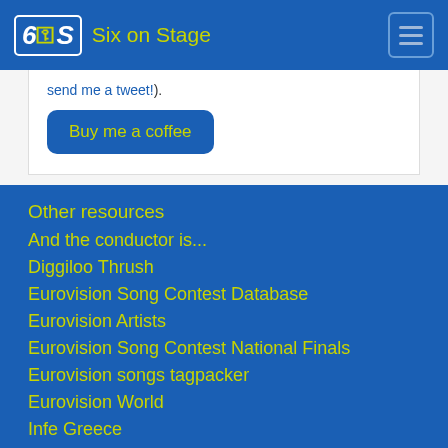Six on Stage
send me a tweet!).
Buy me a coffee
Other resources
And the conductor is...
Diggiloo Thrush
Eurovision Song Contest Database
Eurovision Artists
Eurovision Song Contest National Finals
Eurovision songs tagpacker
Eurovision World
Infe Greece